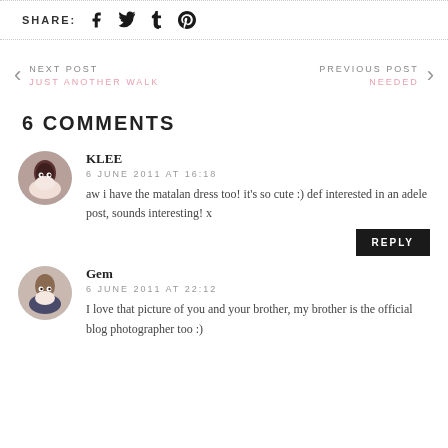SHARE: f t t p
NEXT POST / JUST ANOTHER WALK | PREVIOUS POST / NEEDED
6 COMMENTS
KLEE
6 JUNE 2011 AT 16:18
aw i have the matalan dress too! it's so cute :) def interested in an adele post, sounds interesting! x
REPLY
Gem
6 JUNE 2011 AT 22:12
I love that picture of you and your brother, my brother is the official blog photographer too :)